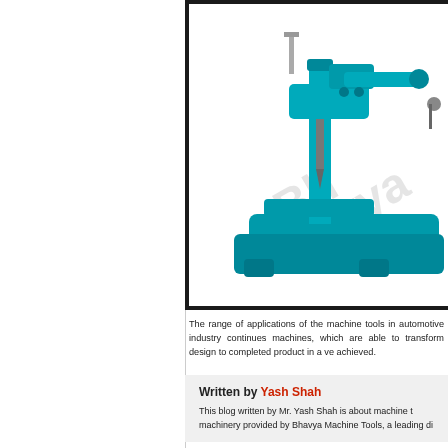[Figure (photo): Photo of a teal/turquoise machine tool (drill press or similar) with Bhavya watermark, shown in a black-bordered frame, partially cropped on the right]
The range of applications of the machine tools in automotive industry continues machines, which are able to transform design to completed product in a ve achieved.
Written by Yash Shah
This blog written by Mr. Yash Shah is about machine t machinery provided by Bhavya Machine Tools, a leading di